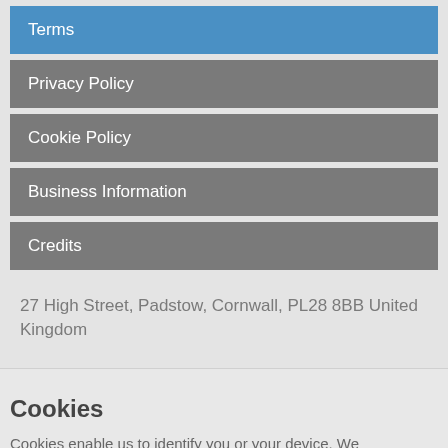Terms
Privacy Policy
Cookie Policy
Business Information
Credits
27 High Street, Padstow, Cornwall, PL28 8BB United Kingdom
Cookies
Cookies enable us to identify you or your device. We